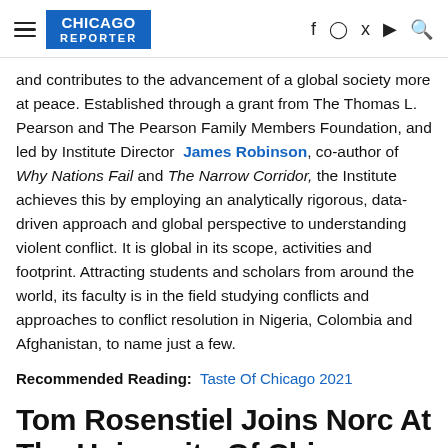CHICAGO REPORTER
and contributes to the advancement of a global society more at peace. Established through a grant from The Thomas L. Pearson and The Pearson Family Members Foundation, and led by Institute Director James Robinson, co-author of Why Nations Fail and The Narrow Corridor, the Institute achieves this by employing an analytically rigorous, data-driven approach and global perspective to understanding violent conflict. It is global in its scope, activities and footprint. Attracting students and scholars from around the world, its faculty is in the field studying conflicts and approaches to conflict resolution in Nigeria, Colombia and Afghanistan, to name just a few.
Recommended Reading: Taste Of Chicago 2021
Tom Rosenstiel Joins Norc At The University Of Chicago And